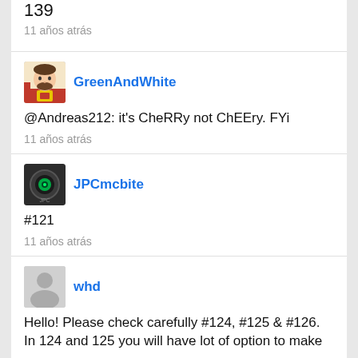139
11 años atrás
GreenAndWhite
@Andreas212: it's CheRRy not ChEEry. FYi
11 años atrás
JPCmcbite
#121
11 años atrás
whd
Hello! Please check carefully #124, #125 & #126. In 124 and 125 you will have lot of option to make